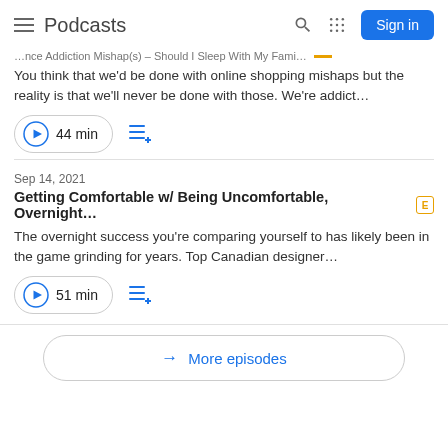Podcasts
You think that we'd be done with online shopping mishaps but the reality is that we'll never be done with those. We're addict…
44 min
Sep 14, 2021
Getting Comfortable w/ Being Uncomfortable, Overnight… [E]
The overnight success you're comparing yourself to has likely been in the game grinding for years. Top Canadian designer…
51 min
More episodes